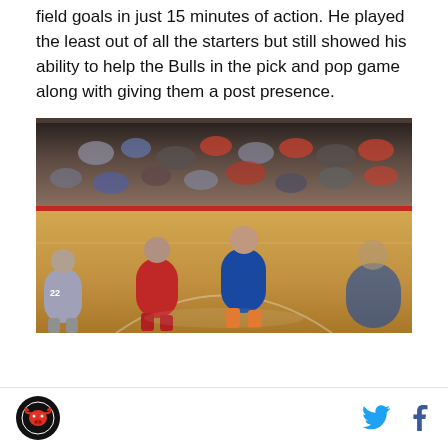field goals in just 15 minutes of action. He played the least out of all the starters but still showed his ability to help the Bulls in the pick and pop game along with giving them a post presence.
[Figure (photo): Basketball game photo showing NBA players on court with crowd in background. Players wearing Bulls (red/white) and Pistons (blue/orange) uniforms. Player number 22 visible on left side.]
Site logo | Twitter icon | Facebook icon